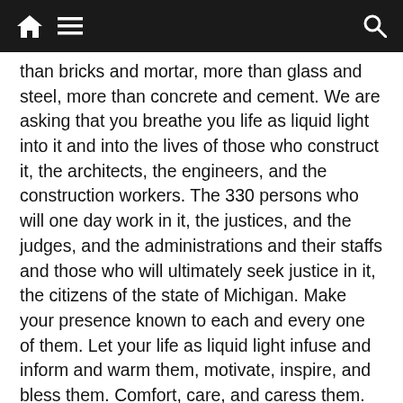Navigation bar with home, menu, and search icons
than bricks and mortar, more than glass and steel, more than concrete and cement. We are asking that you breathe you life as liquid light into it and into the lives of those who construct it, the architects, the engineers, and the construction workers. The 330 persons who will one day work in it, the justices, and the judges, and the administrations and their staffs and those who will ultimately seek justice in it, the citizens of the state of Michigan. Make your presence known to each and every one of them. Let your life as liquid light infuse and inform and warm them, motivate, inspire, and bless them. Comfort, care, and caress them. Help them to be aware of your liquid light in the offices, and the elevators, in the lunchrooms, in the boardrooms, in the corridors the courtroom. Quicken their minds and their hearts